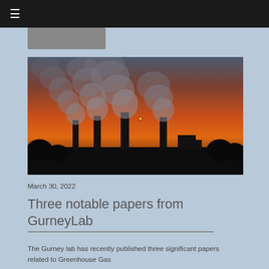≡
[Figure (photo): Industrial factory scene at sunset with multiple smokestacks emitting large plumes of smoke against an orange and dark sky, with dark silhouetted trees and buildings in the foreground.]
March 30, 2022
Three notable papers from GurneyLab
The Gurney lab has recently published three significant papers related to Greenhouse Gas